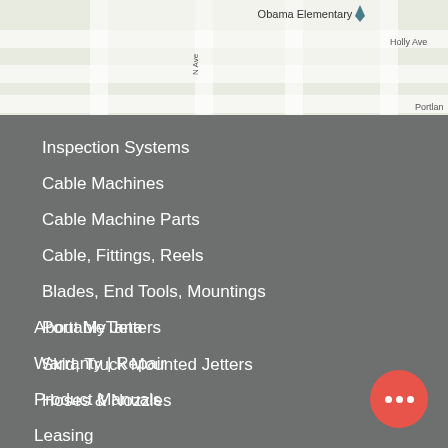[Figure (map): Google Maps screenshot showing Obama Elementary school area with street grid, Holly Ave label, and Portland label visible]
Inspection Systems
Cable Machines
Cable Machine Parts
Cable, Fittings, Reels
Blades, End Tools, Mountings
Portable Jetters
Skid, Truck Mounted Jetters
Hoses & Nozzles
About MyTana
Warranty | Repair
Product Manuals
Leasing
FAQs